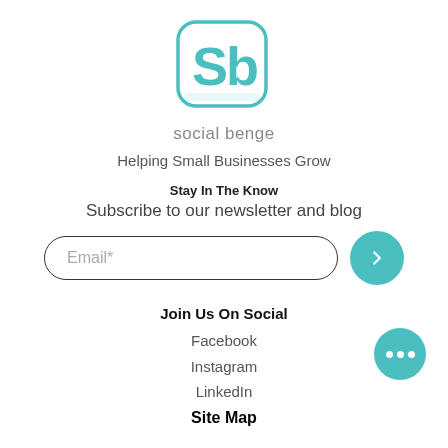[Figure (logo): Social Benge logo: rounded square with teal border and 'Sb' letters in teal]
social benge
Helping Small Businesses Grow
Stay In The Know
Subscribe to our newsletter and blog
Email*
Join Us On Social
Facebook
Instagram
LinkedIn
Site Map